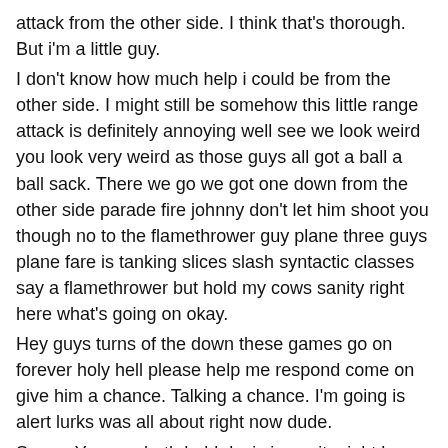attack from the other side. I think that's thorough. But i'm a little guy.
I don't know how much help i could be from the other side. I might still be somehow this little range attack is definitely annoying well see we look weird you look very weird as those guys all got a ball a ball sack. There we go we got one down from the other side parade fire johnny don't let him shoot you though no to the flamethrower guy plane three guys plane fare is tanking slices slash syntactic classes say a flamethrower but hold my cows sanity right here what's going on okay.
Hey guys turns of the down these games go on forever holy hell please help me respond come on give him a chance. Talking a chance. I'm going is alert lurks was all about right now dude.
Screw. You you both hold davis in sanity right here. Oh. My god i really thought. I was doing good right there these